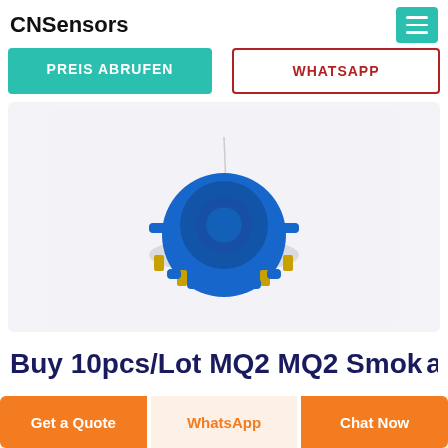CNSensors
PREIS ABRUFEN
WHATSAPP
[Figure (photo): A blue circular MQ2 gas sensor module with gold pins on a white/light gray background]
Buy 10pcs/Lot MQ2 MQ2 Smok   as
Get a Quote
WhatsApp
Chat Now